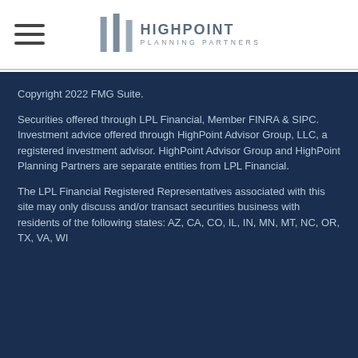HighPoint Planning Partners
Copyright 2022 FMG Suite.
Securities offered through LPL Financial, Member FINRA & SIPC. Investment advice offered through HighPoint Advisor Group, LLC, a registered investment advisor. HighPoint Advisor Group and HighPoint Planning Partners are separate entities from LPL Financial.
The LPL Financial Registered Representatives associated with this site may only discuss and/or transact securities business with residents of the following states: AZ, CA, CO, IL, IN, MN, MT, NC, OR, TX, VA, WI